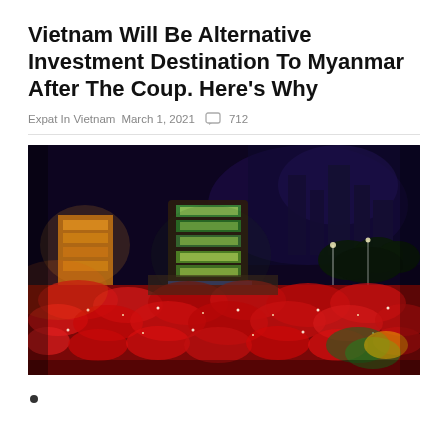Vietnam Will Be Alternative Investment Destination To Myanmar After The Coup. Here's Why
Expat In Vietnam  March 1, 2021   712
[Figure (photo): Aerial nighttime photo of a massive crowd of people waving red flags filling a wide urban street in Vietnam, with a multi-story illuminated building at center and city lights in the background.]